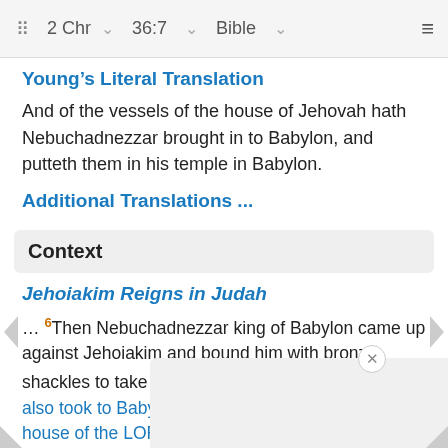2 Chr  36:7  Bible
Young's Literal Translation
And of the vessels of the house of Jehovah hath Nebuchadnezzar brought in to Babylon, and putteth them in his temple in Babylon.
Additional Translations ...
Context
Jehoiakim Reigns in Judah
… 6 Then Nebuchadnezzar king of Babylon came up against Jehoiakim and bound him with bronze shackles to take him to Babylon. 7 Nebuchadnezzar also took to Babylon some of the articles from the house of the LORD, and he put them in his temple in Babylon. 8 As for the rest of the acts of Jehoiakim, the ab…s found…e